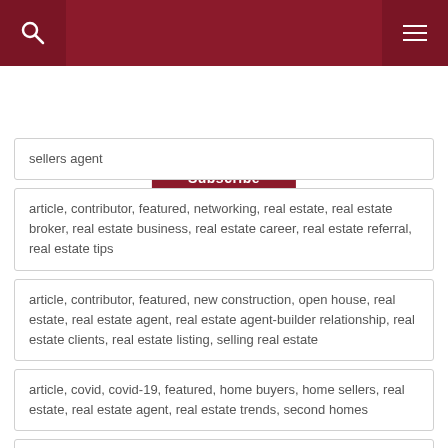Navigation header with search and menu icons
Subscribe
sellers agent
article, contributor, featured, networking, real estate, real estate broker, real estate business, real estate career, real estate referral, real estate tips
article, contributor, featured, new construction, open house, real estate, real estate agent, real estate agent-builder relationship, real estate clients, real estate listing, selling real estate
article, covid, covid-19, featured, home buyers, home sellers, real estate, real estate agent, real estate trends, second homes
article, covid-19, covid-19 guidelines, featured, real estate